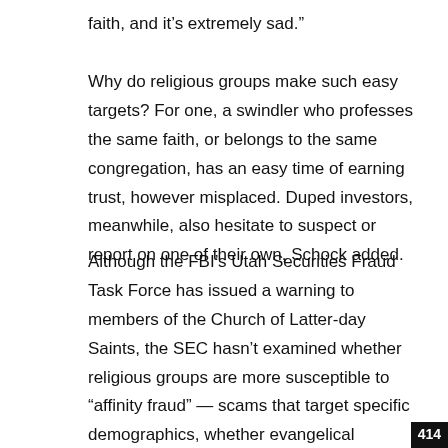faith, and it’s extremely sad.”
Why do religious groups make such easy targets? For one, a swindler who professes the same faith, or belongs to the same congregation, has an easy time of earning trust, however misplaced. Duped investors, meanwhile, also hesitate to suspect or report on one of their own, Schock added.
Although the FBI’s Utah Securities Fraud Task Force has issued a warning to members of the Church of Latter-day Saints, the SEC hasn’t examined whether religious groups are more susceptible to “affinity fraud” — scams that target specific demographics, whether evangelical Christians or the elderly.
414